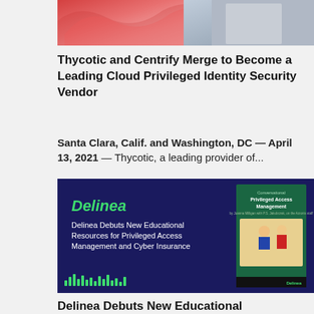[Figure (photo): Partial image at top showing abstract red/pink wave pattern on left and a person in a plaid shirt on right, cropped at bottom of frame]
Thycotic and Centrify Merge to Become a Leading Cloud Privileged Identity Security Vendor
Santa Clara, Calif. and Washington, DC — April 13, 2021 — Thycotic, a leading provider of...
[Figure (illustration): Dark navy blue promotional card for Delinea featuring the green Delinea logo, text 'Delinea Debuts New Educational Resources for Privileged Access Management and Cyber Insurance', and a book cover for 'Conversational Privileged Access Management' on the right side with green bar decorative elements at the bottom]
Delinea Debuts New Educational Resources for